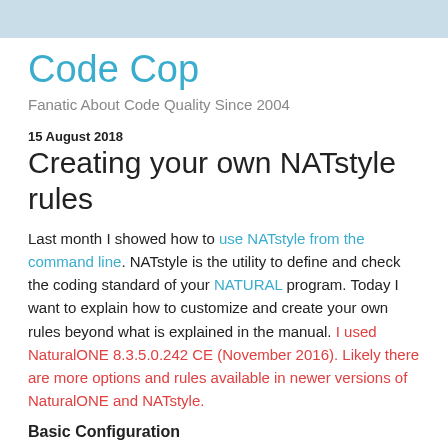Code Cop
Fanatic About Code Quality Since 2004
15 August 2018
Creating your own NATstyle rules
Last month I showed how to use NATstyle from the command line. NATstyle is the utility to define and check the coding standard of your NATURAL program. Today I want to explain how to customize and create your own rules beyond what is explained in the manual. I used NaturalONE 8.3.5.0.242 CE (November 2016). Likely there are more options and rules available in newer versions of NaturalONE and NATstyle.
Basic Configuration
NATstyle comes packaged inside NaturalONE, the Eclipse-based IDE for NATURAL. As expected NATstyle can be